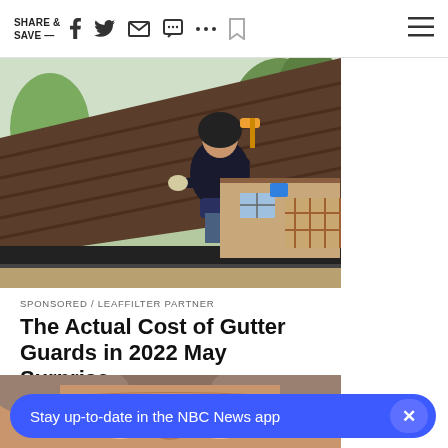SHARE & SAVE — [social icons]
[Figure (photo): A worker in a dark hoodie installs or works on a gutter at the edge of a roof. He is holding a power tool. The roof has brown shingles and there are trees and a house in the background.]
SPONSORED / LEAFFILTER PARTNER
The Actual Cost of Gutter Guards in 2022 May Surprise...
[Figure (photo): Close-up partial photo of an older person's face (forehead, eyes, and nose visible).]
Stay up-to-date in the NBC News app